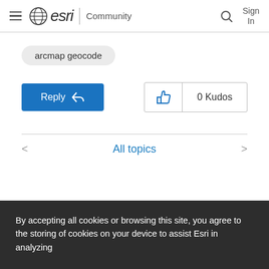esri Community
arcmap geocode
Reply
0 Kudos
All topics
By accepting all cookies or browsing this site, you agree to the storing of cookies on your device to assist Esri in analyzing